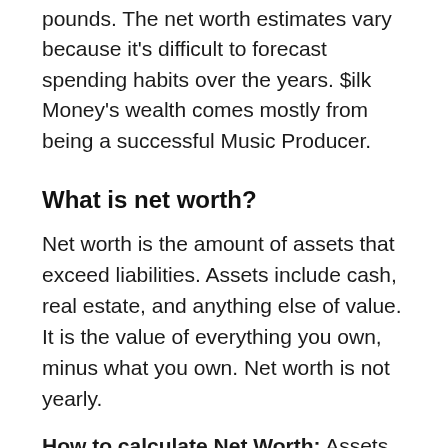pounds. The net worth estimates vary because it's difficult to forecast spending habits over the years. $ilk Money's wealth comes mostly from being a successful Music Producer.
What is net worth?
Net worth is the amount of assets that exceed liabilities. Assets include cash, real estate, and anything else of value. It is the value of everything you own, minus what you own. Net worth is not yearly.
How to calculate Net Worth: Assets minus Debt equals Net Worth. Net worth is basically calculated